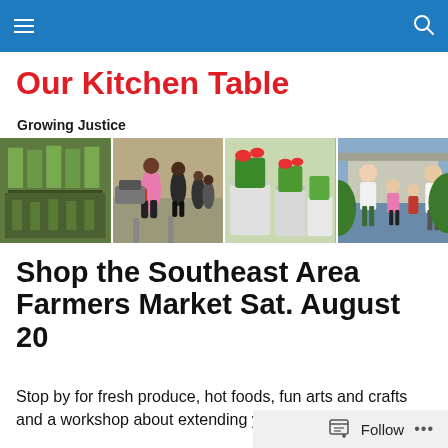Navigation bar with menu and search icons
Our Kitchen Table
Growing Justice
[Figure (photo): A horizontal strip of four photos showing: a garden with seedling trays, people walking at a community market, container gardens with plants in white buckets, and a group of women and children posing outdoors.]
Shop the Southeast Area Farmers Market Sat. August 20
Stop by for fresh produce, hot foods, fun arts and crafts and a workshop about extending your food garden into the
Follow ...